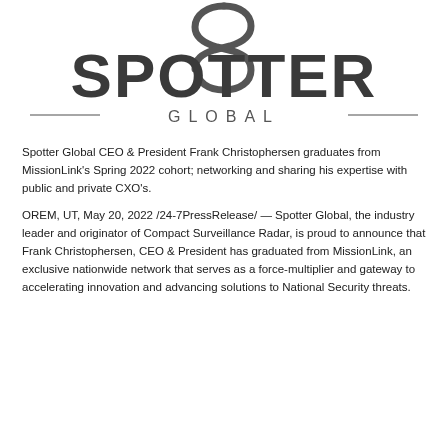[Figure (logo): Spotter Global logo with stylized S emblem above large SPOTTER text and — GLOBAL — subtitle]
Spotter Global CEO & President Frank Christophersen graduates from MissionLink's Spring 2022 cohort; networking and sharing his expertise with public and private CXO's.
OREM, UT, May 20, 2022 /24-7PressRelease/ — Spotter Global, the industry leader and originator of Compact Surveillance Radar, is proud to announce that Frank Christophersen, CEO & President has graduated from MissionLink, an exclusive nationwide network that serves as a force-multiplier and gateway to accelerating innovation and advancing solutions to National Security threats.